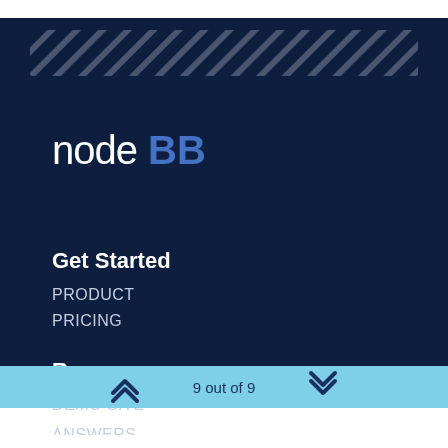[Figure (logo): NodeBB logo — 'node' in white and 'BB' in blue on dark navy background, with diagonal stripe pattern above]
Get Started
PRODUCT
PRICING
Resources
DEMO SITE
ANSWERS
9 out of 9